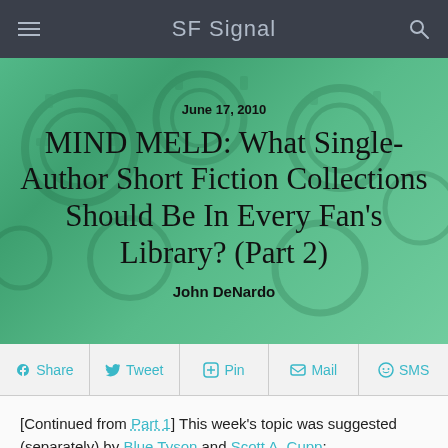SF Signal
[Figure (photo): Hero banner with green-tinted gear/brain imagery background. Contains date, article title, and author name.]
June 17, 2010
MIND MELD: What Single-Author Short Fiction Collections Should Be In Every Fan's Library? (Part 2)
John DeNardo
Share  Tweet  Pin  Mail  SMS
[Continued from Part 1] This week's topic was suggested (separately) by Blue Tyson and Scott A. Cupp:
We've discussed essential science fiction novels, but what